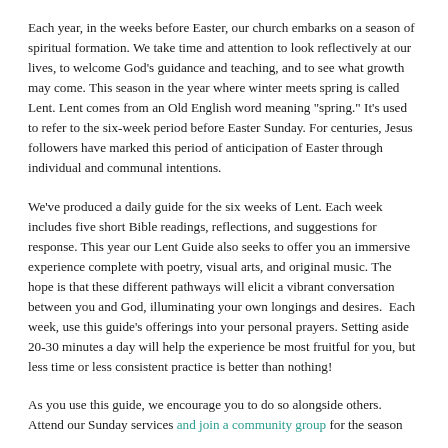Each year, in the weeks before Easter, our church embarks on a season of spiritual formation. We take time and attention to look reflectively at our lives, to welcome God’s guidance and teaching, and to see what growth may come. This season in the year where winter meets spring is called Lent. Lent comes from an Old English word meaning “spring.” It’s used to refer to the six-week period before Easter Sunday. For centuries, Jesus followers have marked this period of anticipation of Easter through individual and communal intentions.
We’ve produced a daily guide for the six weeks of Lent. Each week includes five short Bible readings, reflections, and suggestions for response. This year our Lent Guide also seeks to offer you an immersive experience complete with poetry, visual arts, and original music. The hope is that these different pathways will elicit a vibrant conversation between you and God, illuminating your own longings and desires.  Each week, use this guide’s offerings into your personal prayers. Setting aside 20-30 minutes a day will help the experience be most fruitful for you, but less time or less consistent practice is better than nothing!
As you use this guide, we encourage you to do so alongside others. Attend our Sunday services and join a community group for the season